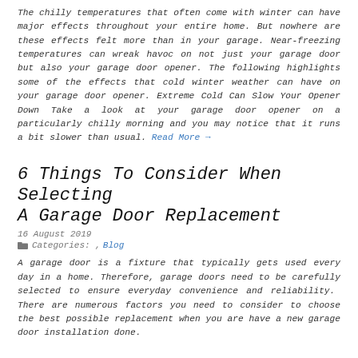The chilly temperatures that often come with winter can have major effects throughout your entire home. But nowhere are these effects felt more than in your garage. Near-freezing temperatures can wreak havoc on not just your garage door but also your garage door opener. The following highlights some of the effects that cold winter weather can have on your garage door opener. Extreme Cold Can Slow Your Opener Down Take a look at your garage door opener on a particularly chilly morning and you may notice that it runs a bit slower than usual. Read More →
6 Things To Consider When Selecting A Garage Door Replacement
16 August 2019
Categories: , Blog
A garage door is a fixture that typically gets used every day in a home. Therefore, garage doors need to be carefully selected to ensure everyday convenience and reliability.  There are numerous factors you need to consider to choose the best possible replacement when you are have a new garage door installation done.